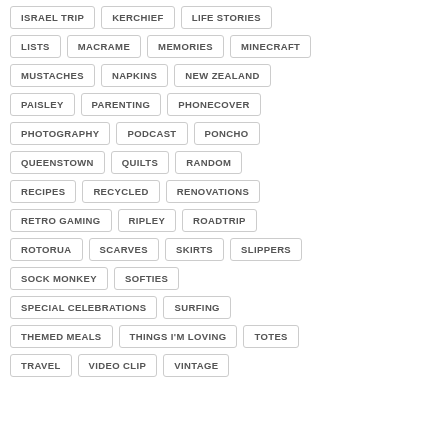ISRAEL TRIP
KERCHIEF
LIFE STORIES
LISTS
MACRAME
MEMORIES
MINECRAFT
MUSTACHES
NAPKINS
NEW ZEALAND
PAISLEY
PARENTING
PHONECOVER
PHOTOGRAPHY
PODCAST
PONCHO
QUEENSTOWN
QUILTS
RANDOM
RECIPES
RECYCLED
RENOVATIONS
RETRO GAMING
RIPLEY
ROADTRIP
ROTORUA
SCARVES
SKIRTS
SLIPPERS
SOCK MONKEY
SOFTIES
SPECIAL CELEBRATIONS
SURFING
THEMED MEALS
THINGS I'M LOVING
TOTES
TRAVEL
VIDEO CLIP
VINTAGE